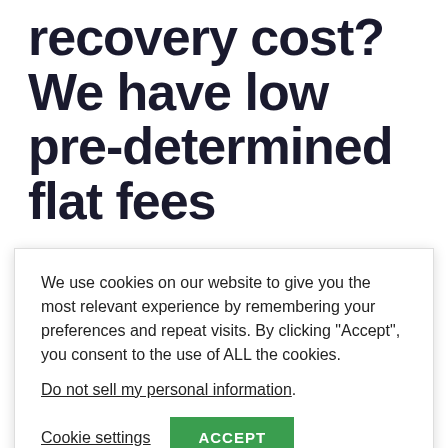recovery cost? We have low pre-determined flat fees
We use cookies on our website to give you the most relevant experience by remembering your preferences and repeat visits. By clicking “Accept”, you consent to the use of ALL the cookies.
Do not sell my personal information.
Cookie settings  ACCEPT
#LosAngeles #Yelp #HardDrive #DataRecovery